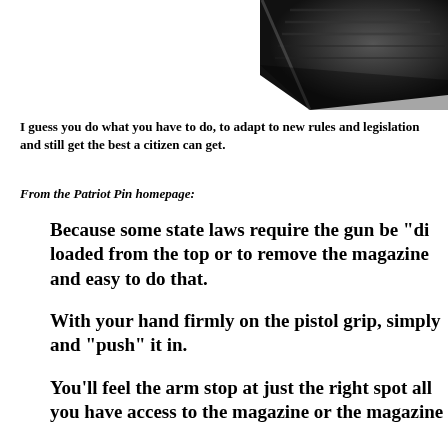[Figure (photo): Partial image of a dark-colored gun component (pistol grip or stock area) visible in upper right corner of the page.]
I guess you do what you have to do, to adapt to new rules and legislation and still get the best a citizen can get.
From the Patriot Pin homepage:
Because some state laws require the gun be “di... loaded from the top or to remove the magazine... and easy to do that.
With your hand firmly on the pistol grip, simply... and “push” it in.
You’ll feel the arm stop at just the right spot all... you have access to the magazine or the magazine...